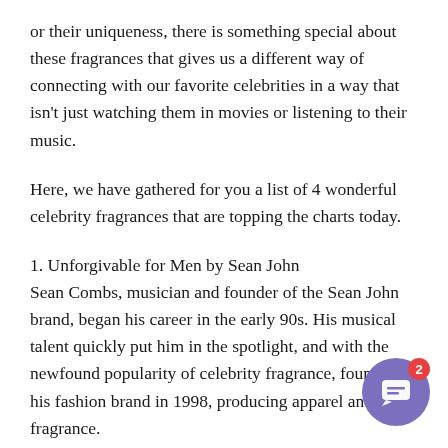or their uniqueness, there is something special about these fragrances that gives us a different way of connecting with our favorite celebrities in a way that isn't just watching them in movies or listening to their music.
Here, we have gathered for you a list of 4 wonderful celebrity fragrances that are topping the charts today.
1. Unforgivable for Men by Sean John
Sean Combs, musician and founder of the Sean John brand, began his career in the early 90s. His musical talent quickly put him in the spotlight, and with the newfound popularity of celebrity fragrance, founded his fashion brand in 1998, producing apparel and fragrance.
Unforgivable for Men by Sean John was launched in 2… noses David Apel, Pierre Negrin, Aurelien Guichard, Caroline Sabas. This complex scent is for the man who lives his life full of passion, raw emotion, and honesty. The fresh